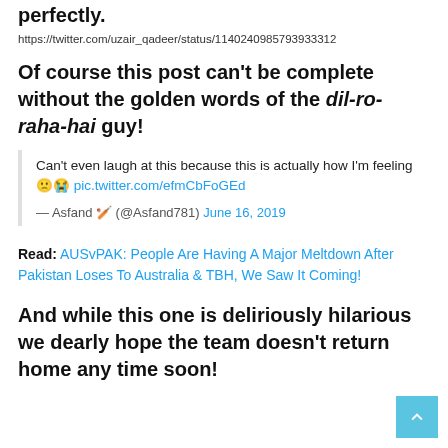perfectly.
https://twitter.com/uzair_qadeer/status/11402409857939333312
Of course this post can't be complete without the golden words of the dil-ro-raha-hai guy!
Can't even laugh at this because this is actually how I'm feeling 🙁😭 pic.twitter.com/efmCbFoGEd
— Asfand 🏏 (@Asfand781) June 16, 2019
Read: AUSvPAK: People Are Having A Major Meltdown After Pakistan Loses To Australia & TBH, We Saw It Coming!
And while this one is deliriously hilarious we dearly hope the team doesn't return home any time soon!